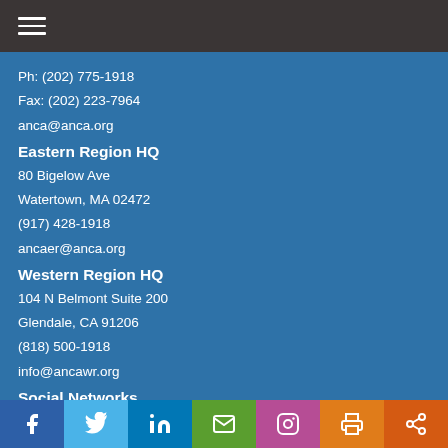Navigation menu
Ph: (202) 775-1918
Fax: (202) 223-7964
anca@anca.org
Eastern Region HQ
80 Bigelow Ave
Watertown, MA 02472
(917) 428-1918
ancaer@anca.org
Western Region HQ
104 N Belmont Suite 200
Glendale, CA 91206
(818) 500-1918
info@ancawr.org
Social Networks
Facebook Twitter LinkedIn Email Instagram Print Share